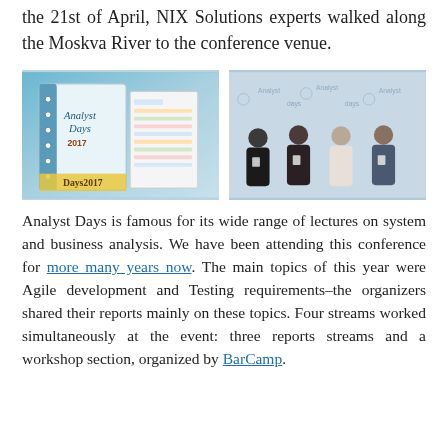the 21st of April, NIX Solutions experts walked along the Moskva River to the conference venue.
[Figure (photo): Two photos side by side: left photo shows Analyst Days 2017 conference materials/notebook; right photo shows four NIX Solutions team members standing in front of an Analyst Days branded backdrop.]
Analyst Days is famous for its wide range of lectures on system and business analysis. We have been attending this conference for more many years now. The main topics of this year were Agile development and Testing requirements–the organizers shared their reports mainly on these topics. Four streams worked simultaneously at the event: three reports streams and a workshop section, organized by BarCamp.